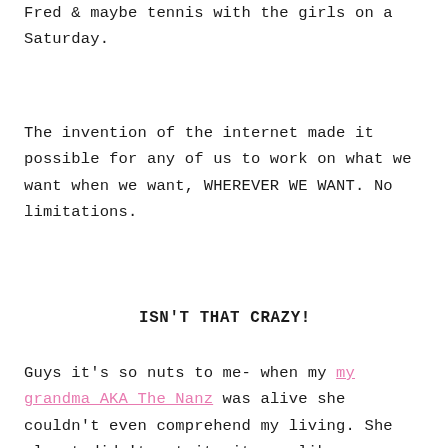Fred & maybe tennis with the girls on a Saturday.
The invention of the internet made it possible for any of us to work on what we want when we want, WHEREVER WE WANT. No limitations.
ISN'T THAT CRAZY!
Guys it's so nuts to me- when my my grandma AKA The Nanz was alive she couldn't even comprehend my living. She almost didn't get it- it was like a foreign language ( once she learned- very fast I may add- she was really